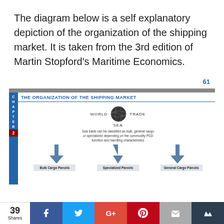The diagram below is a self explanatory depiction of the organization of the shipping market. It is taken from the 3rd edition of Martin Stopford's Maritime Economics.
61
[Figure (flowchart): Organization of the Shipping Market diagram showing World Trade (Sea) at the top with a globe, flowing down to three categories: Bulk Cargo Parcels, Specialized Parcels, and General Cargo Parcels. Chapter 2 tab on the left side.]
[Figure (infographic): Social sharing bar with 39 Shares, Facebook, Twitter, Google+, Pinterest, Email, and Crown buttons.]